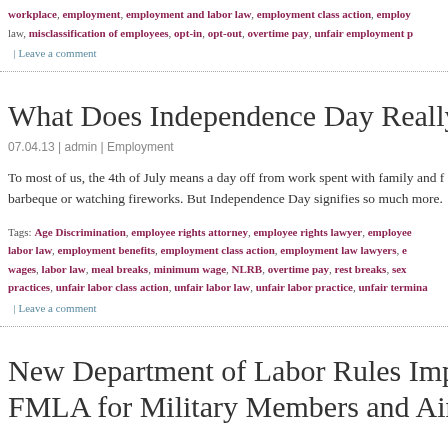workplace, employment, employment and labor law, employment class action, employ law, misclassification of employees, opt-in, opt-out, overtime pay, unfair employment p
| Leave a comment
What Does Independence Day Really M
07.04.13 | admin | Employment
To most of us, the 4th of July means a day off from work spent with family and barbeque or watching fireworks. But Independence Day signifies so much more.
Tags: Age Discrimination, employee rights attorney, employee rights lawyer, employee labor law, employment benefits, employment class action, employment law lawyers, e wages, labor law, meal breaks, minimum wage, NLRB, overtime pay, rest breaks, sex practices, unfair labor class action, unfair labor law, unfair labor practice, unfair termina
| Leave a comment
New Department of Labor Rules Implem FMLA for Military Members and Airlin